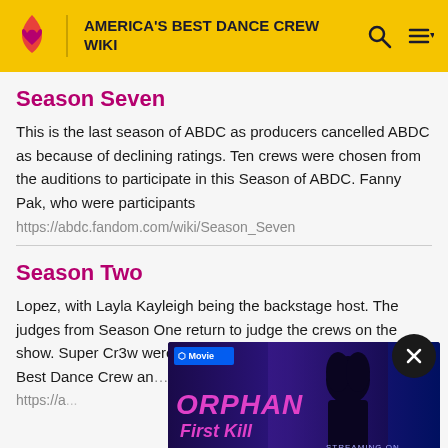AMERICA'S BEST DANCE CREW WIKI
Season Seven
This is the last season of ABDC as producers cancelled ABDC as because of declining ratings. Ten crews were chosen from the auditions to participate in this Season of ABDC. Fanny Pak, who were participants
https://abdc.fandom.com/wiki/Season_Seven
Season Two
Lopez, with Layla Kayleigh being the backstage host. The judges from Season One return to judge the crews on the show. Super Cr3w were declared as the winners of America's Best Dance Crew an...
https://a...
[Figure (screenshot): Advertisement banner for Orphan: First Kill movie, streaming on Paramount+. Shows movie title in pink text, a dark figure of a girl, and 'TRY IT FREE' button.]
Super
Super CR3W (pronounced "Super Crew") is an male& female